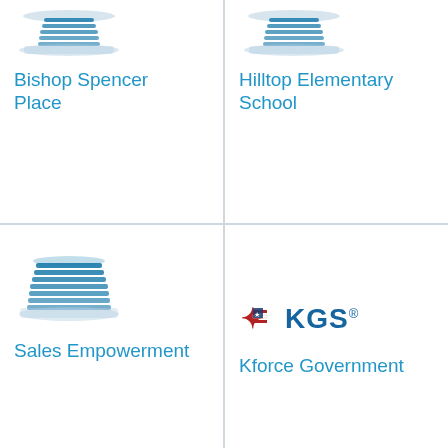[Figure (illustration): Building icon for Bishop Spencer Place]
Bishop Spencer Place
[Figure (illustration): Building icon for Hilltop Elementary School]
Hilltop Elementary School
Hello, world!
Arthur J. Gallagher & Company
Insurance company
[Figure (illustration): Building icon for Panasonic Solutions for Business]
Panasonic Solutions for Business
[Figure (illustration): Building icon for Sales Empowerment]
Sales Empowerment
[Figure (logo): KGS logo with star and flag motif]
Kforce Government